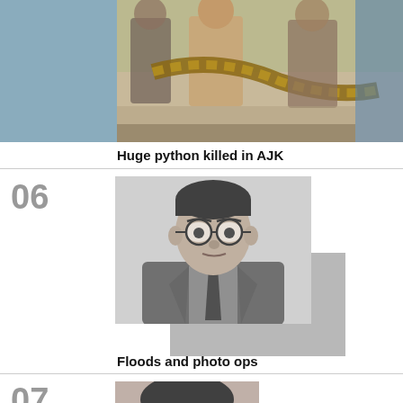[Figure (photo): Outdoor photo showing people holding a large python snake, blurry background with figures in traditional clothing]
Huge python killed in AJK
06
[Figure (photo): Black and white portrait photo of an older man wearing glasses and a suit with tie, styled with a decorative gray shadow block behind]
Floods and photo ops
07
[Figure (photo): Partial photo of a person, cropped at bottom of page]